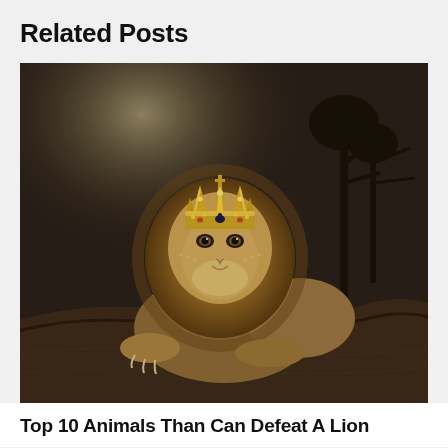Related Posts
[Figure (photo): A majestic lion wearing a golden crown, resting on a large tree trunk. The background shows a dark, moody savanna scene with bare trees. The lion faces forward with a calm, regal expression.]
Top 10 Animals Than Can Defeat A Lion